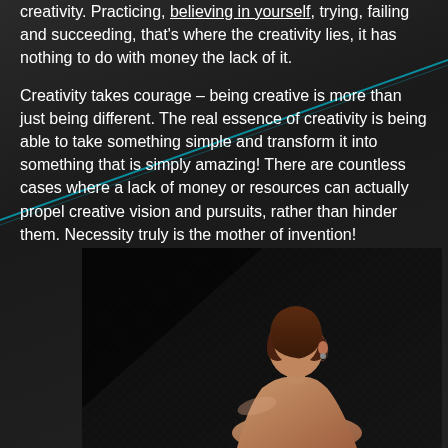creativity. Practicing, believing in yourself, trying, failing and succeeding, that's where the creativity lies, it has nothing to do with money the lack of it.
Creativity takes courage – being creative is more than just being different. The real essence of creativity is being able to take something simple and transform it into something that is simply amazing! There are countless cases where a lack of money or resources can actually propel creative vision and pursuits, rather than hinder them. Necessity truly is the mother of invention!
[Figure (photo): A woman with short brown hair, viewed from behind and slightly to the side, bare shoulders, dark background with diagonal pattern, studio portrait style.]